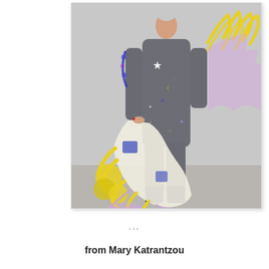[Figure (photo): A fashion runway photo of a model wearing a glittery dark silver full-body jumpsuit with blue, purple and yellow floral/celestial star and moon embroidery. The model holds a large accessory made of layered yellow fringe, lavender tulle, and cream crochet or knit pieces. Yellow fringed and lavender ruffled elements also appear draped over the left shoulder. The background is a neutral grey studio/runway setting.]
...
from Mary Katrantzou